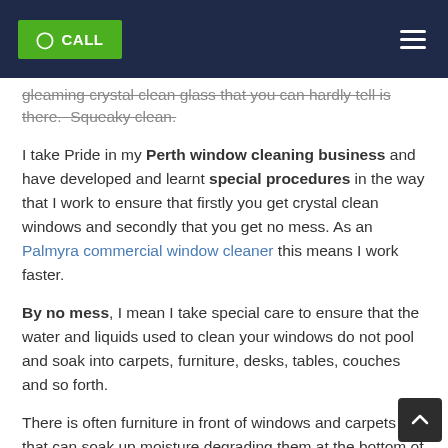CALL [navigation bar with hamburger menu]
gleaming crystal clean glass that you can hardly tell is there.  Squeaky clean.
I take Pride in my Perth window cleaning business and have developed and learnt special procedures in the way that I work to ensure that firstly you get crystal clean windows and secondly that you get no mess. As an Palmyra commercial window cleaner this means I work faster.
By no mess, I mean I take special care to ensure that the water and liquids used to clean your windows do not pool and soak into carpets, furniture, desks, tables, couches and so forth.
There is often furniture in front of windows and carpets that can soak up moisture degrading them at the bottom of